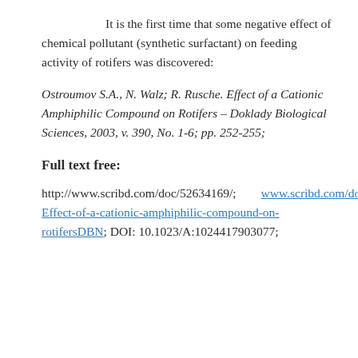It is the first time that some negative effect of chemical pollutant (synthetic surfactant) on feeding activity of rotifers was discovered:
Ostroumov S.A., N. Walz; R. Rusche. Effect of a Cationic Amphiphilic Compound on Rotifers – Doklady Biological Sciences, 2003, v. 390, No. 1-6; pp. 252-255;
Full text free:
http://www.scribd.com/doc/52634169/; www.scribd.com/doc/52634169/3-Effect-of-a-cationic-amphiphilic-compound-on-rotifersDBN; DOI: 10.1023/A:1024417903077;